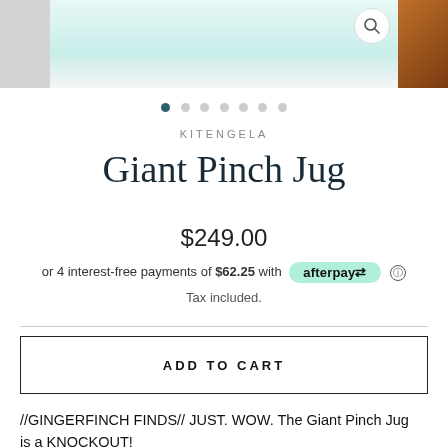[Figure (photo): Product image strip showing Giant Pinch Jug in teal/mint color, with gray panel on left and wood-toned panel on right. Magnifying glass icon in top right of center image.]
• • • • • • •  (carousel dots, first active)
KITENGELA
Giant Pinch Jug
$249.00
or 4 interest-free payments of $62.25 with afterpay ℹ
Tax included.
ADD TO CART
//GINGERFINCH FINDS// JUST. WOW. The Giant Pinch Jug is a KNOCKOUT!
The Giant Pinch Jug is sleek, elegant and such a show-